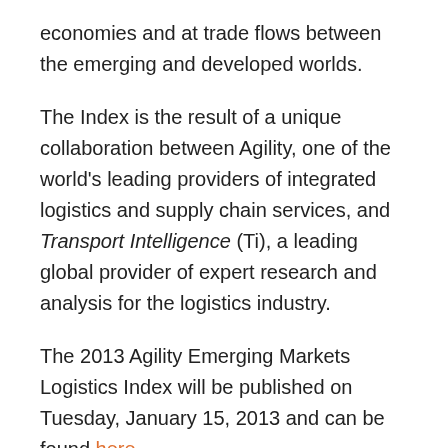economies and at trade flows between the emerging and developed worlds.
The Index is the result of a unique collaboration between Agility, one of the world's leading providers of integrated logistics and supply chain services, and Transport Intelligence (Ti), a leading global provider of expert research and analysis for the logistics industry.
The 2013 Agility Emerging Markets Logistics Index will be published on Tuesday, January 15, 2013 and can be found here.